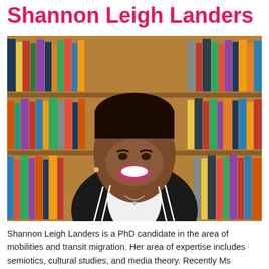Shannon Leigh Landers
[Figure (photo): Portrait photo of Shannon Leigh Landers, a young woman smiling, wearing a black and white striped blazer over a white top, with bookshelves full of books in the background.]
Shannon Leigh Landers is a PhD candidate in the area of mobilities and transit migration. Her area of expertise includes semiotics, cultural studies, and media theory. Recently Ms Landers has been elected as a scholar of the